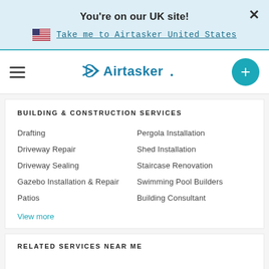You're on our UK site!
Take me to Airtasker United States
[Figure (logo): Airtasker logo with arrow icon]
BUILDING & CONSTRUCTION SERVICES
Drafting
Pergola Installation
Driveway Repair
Shed Installation
Driveway Sealing
Staircase Renovation
Gazebo Installation & Repair
Swimming Pool Builders
Patios
Building Consultant
View more
RELATED SERVICES NEAR ME